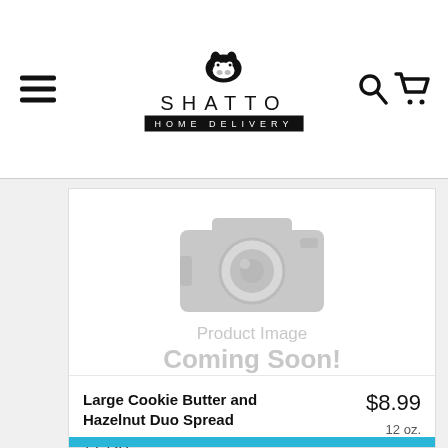[Figure (logo): Shatto Home Delivery logo with cow icon, text SHATTO in spaced letters and HOME DELIVERY on black bar]
[Figure (photo): Product image placeholder with camera icon, text 'Product Image Coming Soon!']
Large Cookie Butter and Hazelnut Duo Spread
$8.99
12 oz.
12.3 oz.